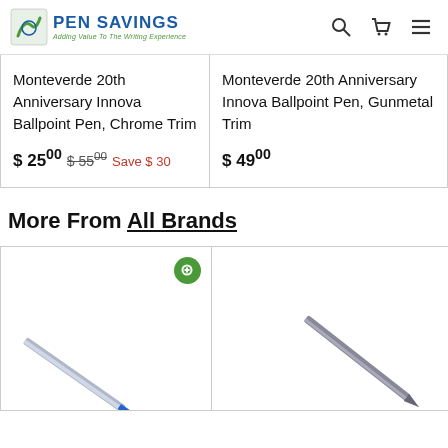Pen Savings - Adding Value To The Writing Experience
Monteverde 20th Anniversary Innova Ballpoint Pen, Chrome Trim
$ 25.00  $ 55.00  Save $ 30
Monteverde 20th Anniversary Innova Ballpoint Pen, Gunmetal Trim
$ 49.00
More From All Brands
[Figure (photo): Blue ballpoint pen refill at an angle]
[Figure (photo): Silver/gunmetal pen at an angle]